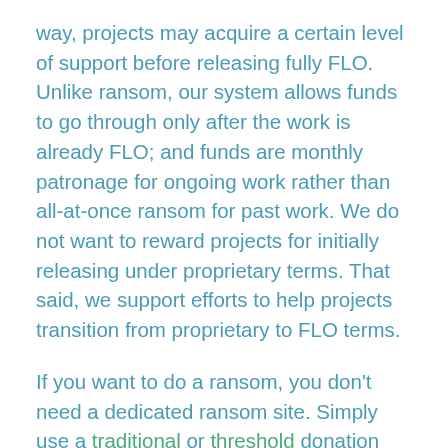way, projects may acquire a certain level of support before releasing fully FLO. Unlike ransom, our system allows funds to go through only after the work is already FLO; and funds are monthly patronage for ongoing work rather than all-at-once ransom for past work. We do not want to reward projects for initially releasing under proprietary terms. That said, we support efforts to help projects transition from proprietary to FLO terms.
If you want to do a ransom, you don't need a dedicated ransom site. Simply use a traditional or threshold donation platform for collection and be clear about the terms of the release.